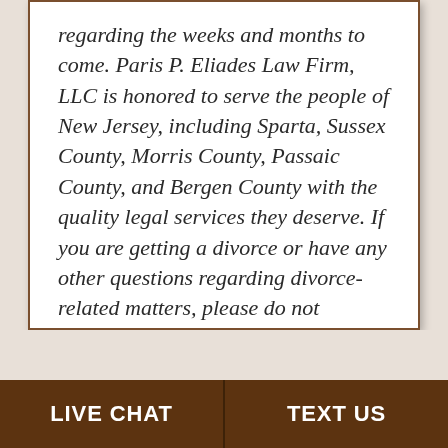regarding the weeks and months to come. Paris P. Eliades Law Firm, LLC is honored to serve the people of New Jersey, including Sparta, Sussex County, Morris County, Passaic County, and Bergen County with the quality legal services they deserve. If you are getting a divorce or have any other questions regarding divorce-related matters, please do not hesitate to contact our firm for a consultation today.
LIVE CHAT | TEXT US